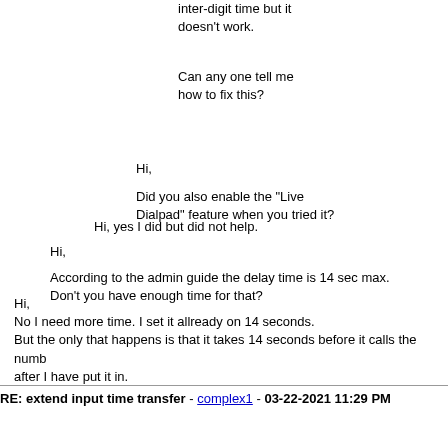inter-digit time but it doesn't work.
Can any one tell me how to fix this?
Hi,

Did you also enable the "Live Dialpad" feature when you tried it?
Hi, yes I did but did not help.
Hi,

According to the admin guide the delay time is 14 sec max. Don't you have enough time for that?
Hi,
No I need more time. I set it allready on 14 seconds.
But the only that happens is that it takes 14 seconds before it calls the number after I have put it in.
RE: extend input time transfer - complex1 - 03-22-2021 11:29 PM